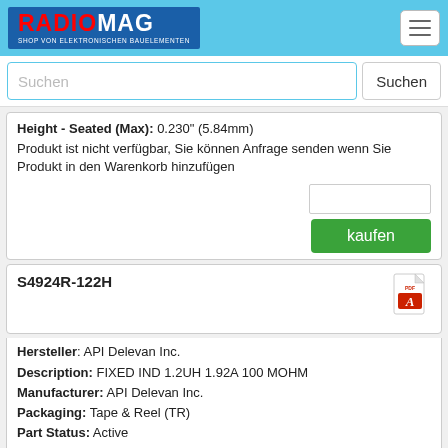RADIOMAG - SHOP VON ELEKTRONISCHEN BAUELEMENTEN
Height - Seated (Max): 0.230" (5.84mm)
Produkt ist nicht verfügbar, Sie können Anfrage senden wenn Sie Produkt in den Warenkorb hinzufügen
S4924R-122H
Hersteller: API Delevan Inc.
Description: FIXED IND 1.2UH 1.92A 100 MOHM
Manufacturer: API Delevan Inc.
Packaging: Tape & Reel (TR)
Part Status: Active
Material - Core: Iron
Inductance: 1.2μH
Tolerance: ±3%
Current Rating (Amps): 1.92A
Current - Saturation (Isat): 1.92A
Shielding: Shielded
DC Resistance (DCR): 100mOhm Max
Q @ Freq: 44 @ 7.9MHz